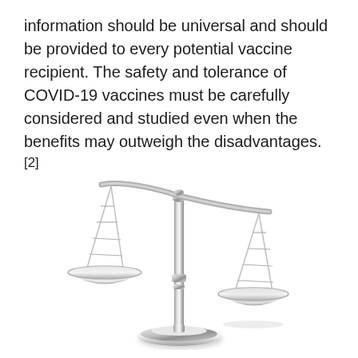information should be universal and should be provided to every potential vaccine recipient. The safety and tolerance of COVID-19 vaccines must be carefully considered and studied even when the benefits may outweigh the disadvantages.[2]
[Figure (illustration): A silver metallic balance scale (scales of justice) tilted with the left pan higher and the right pan lower, symbolizing weighing of benefits versus disadvantages of COVID-19 vaccines.]